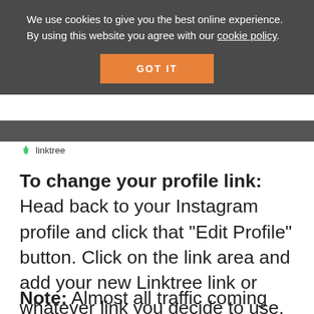We use cookies to give you the best online experience. By using this website you agree with our cookie policy.
GOT IT
[Figure (logo): Linktree logo — green tree icon followed by 'linktree' text]
To change your profile link: Head back to your Instagram profile and click that “Edit Profile” button. Click on the link area and add your new Linktree link or whatever link you decide to use.
Note: Almost all traffic coming from Instagram is going to be mobile. So if